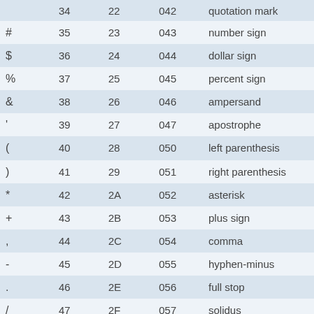| Char | Dec | Hex | Oct | Name |
| --- | --- | --- | --- | --- |
| " | 34 | 22 | 042 | quotation mark |
| # | 35 | 23 | 043 | number sign |
| $ | 36 | 24 | 044 | dollar sign |
| % | 37 | 25 | 045 | percent sign |
| & | 38 | 26 | 046 | ampersand |
| ' | 39 | 27 | 047 | apostrophe |
| ( | 40 | 28 | 050 | left parenthesis |
| ) | 41 | 29 | 051 | right parenthesis |
| * | 42 | 2A | 052 | asterisk |
| + | 43 | 2B | 053 | plus sign |
| , | 44 | 2C | 054 | comma |
| - | 45 | 2D | 055 | hyphen-minus |
| . | 46 | 2E | 056 | full stop |
| / | 47 | 2F | 057 | solidus |
| 0 | 48 | 30 | 060 | digit zero |